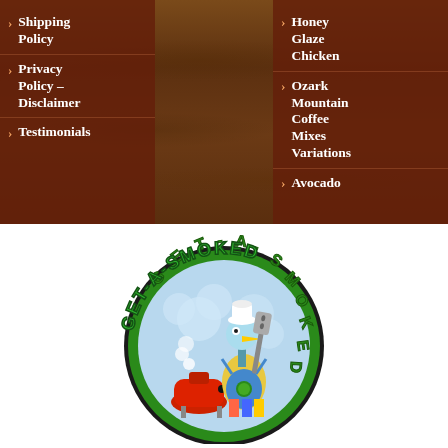> Shipping Policy
> Privacy Policy – Disclaimer
> Testimonials
> Glaze Chicken
> Ozark Mountain Coffee Mixes Variations
> Avocado
[Figure (logo): GET-A-SMOKED circular logo featuring a cartoon chicken/bird character wearing a chef hat and apron, holding a spatula, with a red BBQ smoker, on a light blue circular background with green lettering and dark border]